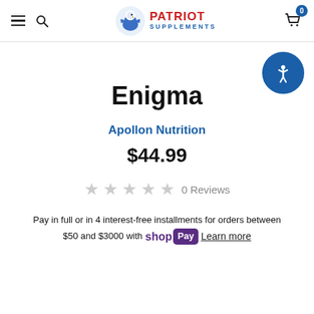Patriot Supplements — navigation header with logo, hamburger menu, search, and cart (0 items)
Enigma
Apollon Nutrition
$44.99
0 Reviews
Pay in full or in 4 interest-free installments for orders between $50 and $3000 with Shop Pay Learn more